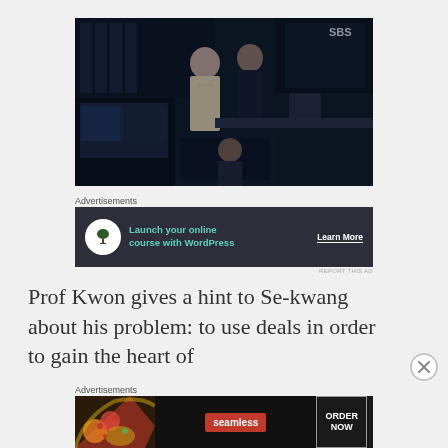[Figure (screenshot): Dark TV screenshot from SBS showing people in a dimly lit room with monitors, SBS logo visible in top right]
Advertisements
[Figure (infographic): Dark advertisement banner: bonsai tree icon, text 'Launch your online course with WordPress', 'Learn More' button]
REPORT THIS AD
Prof Kwon gives a hint to Se-kwang about his problem: to use deals in order to gain the heart of
Advertisements
[Figure (infographic): Seamless food delivery advertisement with pizza image, red Seamless badge, and ORDER NOW button]